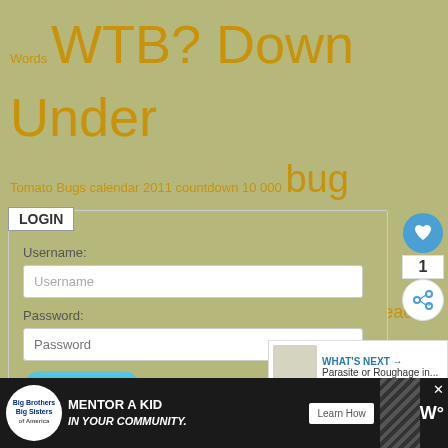Words WTB? Down Under Tomato Bugs calendar 2011 countdown 10 000 bug love Make My Day Household Pests 10 Most Beautiful Spiders gardening blog Nasty Reader Award Top 10 WTB? Mt. Washington The Big 5 What's on my Woody Plant? bug of the month Worst Bug Stories Ever!!! Aquatic Bugs
[Figure (screenshot): Login form with Username and Password fields and a LOGIN button]
[Figure (infographic): Social sidebar with heart icon (1), and share icon]
[Figure (infographic): What's Next panel: Parasite or Roughage in...]
[Figure (infographic): Advertisement banner: Big Brothers Big Sisters - Mentor a Kid in Your Community - Learn How]